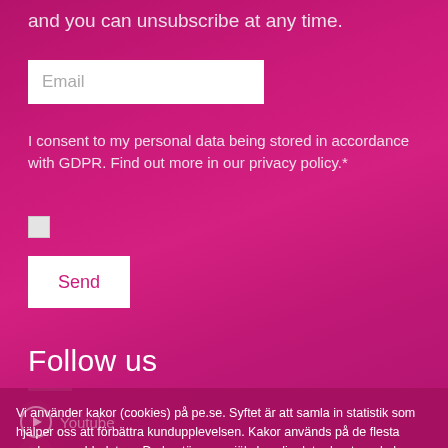and you can unsubscribe at any time.
Email
I consent to my personal data being stored in accordance with GDPR. Find out more in our privacy policy.*
Send
Follow us
Linkedin
Facebook
Youtube
Vi använder kakor (cookies) på pe.se. Syftet är att samla in statistik som hjälper oss att förbättra kundupplevelsen. Kakor används på de flesta moderna webbplatser. Du bestämmer själv hur din dator hanterar kakor genom inställningarna i din webbläsare.
OK